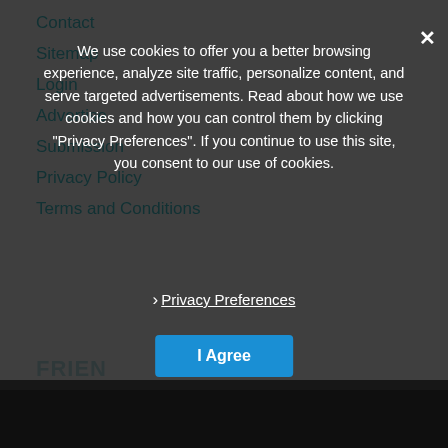Contact
Sitemap
Login
Advertise
Submission
Privacy Policy
Terms and Conditions
Imprint / Impressum
FRIEN...
HighLife Samples
Inside Audio
Jooble: Sound designer...
KVR Audio
We use cookies to offer you a better browsing experience, analyze site traffic, personalize content, and serve targeted advertisements. Read about how we use cookies and how you can control them by clicking "Privacy Preferences". If you continue to use this site, you consent to our use of cookies.
› Privacy Preferences
I Agree